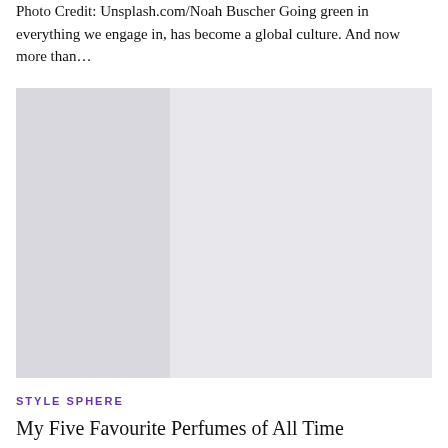Photo Credit: Unsplash.com/Noah Buscher Going green in everything we engage in, has become a global culture. And now more than...
[Figure (photo): A large rectangular placeholder image with light gray and slightly darker gray columns, representing a photograph of a green/nature subject.]
STYLE SPHERE
My Five Favourite Perfumes of All Time